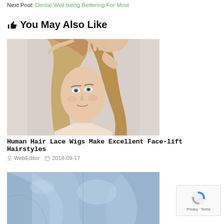Next Post: Dental Well being Bettering For Most
👍You May Also Like
[Figure (photo): Young blonde woman with blue eyes touching her hair at the roots, looking at camera, health/beauty editorial photo]
Human Hair Lace Wigs Make Excellent Face-lift Hairstyles
WebEditor   2018-09-17
[Figure (photo): Person wearing a blue dress shirt, close-up fabric detail photo]
[Figure (logo): reCAPTCHA badge with Privacy and Terms text]